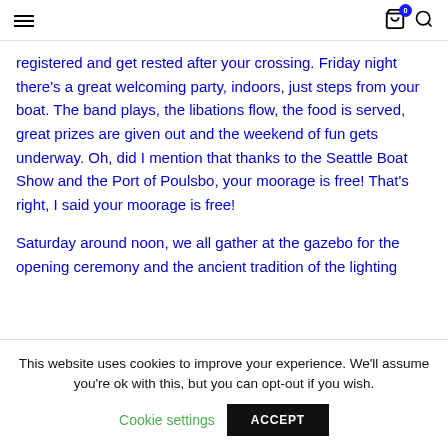Navigation header with hamburger menu, cart icon (0 items), and search icon
registered and get rested after your crossing. Friday night there's a great welcoming party, indoors, just steps from your boat. The band plays, the libations flow, the food is served, great prizes are given out and the weekend of fun gets underway. Oh, did I mention that thanks to the Seattle Boat Show and the Port of Poulsbo, your moorage is free! That's right, I said your moorage is free!
Saturday around noon, we all gather at the gazebo for the opening ceremony and the ancient tradition of the lighting
This website uses cookies to improve your experience. We'll assume you're ok with this, but you can opt-out if you wish.
Cookie settings | ACCEPT